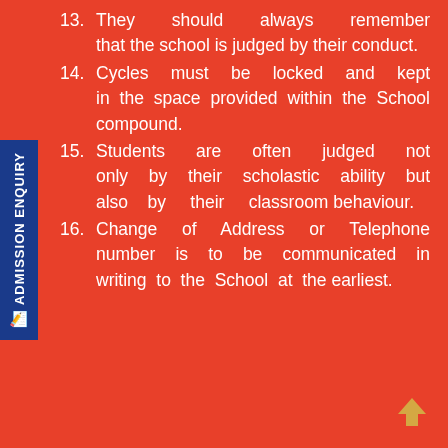13. They should always remember that the school is judged by their conduct.
14. Cycles must be locked and kept in the space provided within the School compound.
15. Students are often judged not only by their scholastic ability but also by their classroom behaviour.
16. Change of Address or Telephone number is to be communicated in writing to the School at the earliest.